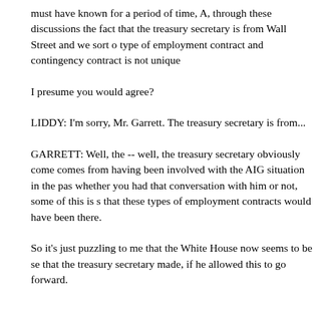must have known for a period of time, A, through these discussions the fact that the treasury secretary is from Wall Street and we sort of type of employment contract and contingency contract is not unique
I presume you would agree?
LIDDY: I'm sorry, Mr. Garrett. The treasury secretary is from...
GARRETT: Well, the -- well, the treasury secretary obviously comes from having been involved with the AIG situation in the past, whether you had that conversation with him or not, some of this is so that these types of employment contracts would have been there.
So it's just puzzling to me that the White House now seems to be se that the treasury secretary made, if he allowed this to go forward.